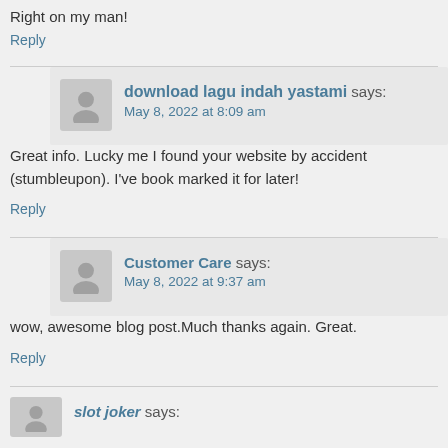Right on my man!
Reply
download lagu indah yastami says: May 8, 2022 at 8:09 am
Great info. Lucky me I found your website by accident (stumbleupon). I've book marked it for later!
Reply
Customer Care says: May 8, 2022 at 9:37 am
wow, awesome blog post.Much thanks again. Great.
Reply
slot joker says: